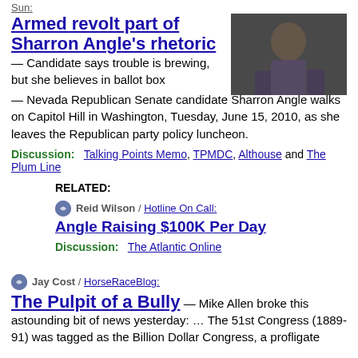Sun:
[Figure (photo): Photo of a woman (Sharron Angle) walking on Capitol Hill]
Armed revolt part of Sharron Angle's rhetoric — Candidate says trouble is brewing, but she believes in ballot box — Nevada Republican Senate candidate Sharron Angle walks on Capitol Hill in Washington, Tuesday, June 15, 2010, as she leaves the Republican party policy luncheon.
Discussion: Talking Points Memo, TPMDC, Althouse and The Plum Line
RELATED:
Reid Wilson / Hotline On Call: Angle Raising $100K Per Day
Discussion: The Atlantic Online
Jay Cost / HorseRaceBlog: The Pulpit of a Bully — Mike Allen broke this astounding bit of news yesterday: … The 51st Congress (1889-91) was tagged as the Billion Dollar Congress, a profligate